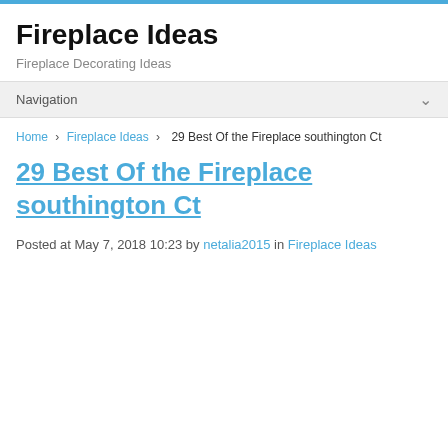Fireplace Ideas
Fireplace Decorating Ideas
Navigation
Home › Fireplace Ideas › 29 Best Of the Fireplace southington Ct
29 Best Of the Fireplace southington Ct
Posted at May 7, 2018 10:23 by netalia2015 in Fireplace Ideas